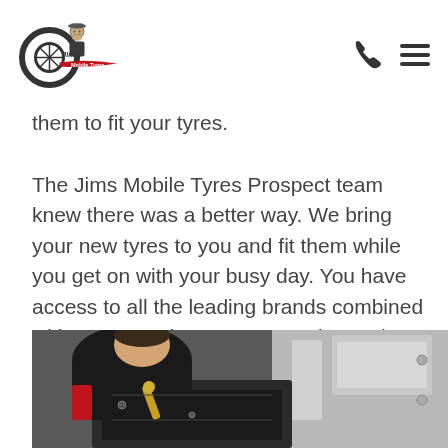Jim's Mobile Tyres logo, phone icon, hamburger menu
them to fit your tyres.
The Jims Mobile Tyres Prospect team knew there was a better way. We bring your new tyres to you and fit them while you get on with your busy day. You have access to all the leading brands combined with expert and courteous service and at prices that will surprise you.
[Figure (photo): A mechanic in a black and red uniform leaning over and working on a tyre fitting machine with a tool, close-up view.]